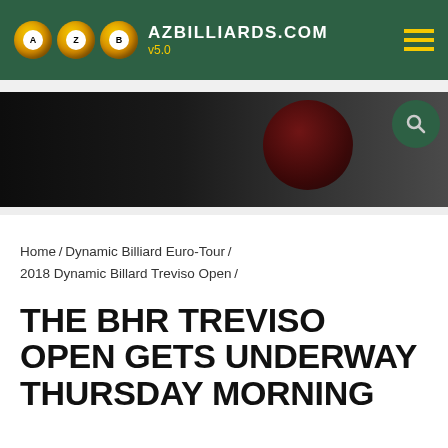AZBILLIARDS.COM v5.0
[Figure (screenshot): Dark banner image with pool ball and search icon]
Home / Dynamic Billiard Euro-Tour / 2018 Dynamic Billard Treviso Open /
THE BHR TREVISO OPEN GETS UNDERWAY THURSDAY MORNING